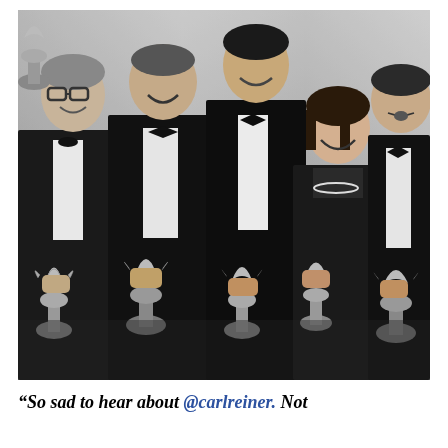[Figure (photo): Black and white photograph of five people in formal attire (tuxedos and evening dress) each holding Emmy Award statuettes, smiling and posing together.]
“So sad to hear about @carlreiner. Not